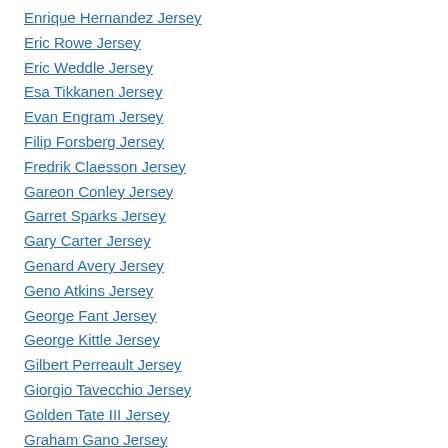Enrique Hernandez Jersey
Eric Rowe Jersey
Eric Weddle Jersey
Esa Tikkanen Jersey
Evan Engram Jersey
Filip Forsberg Jersey
Fredrik Claesson Jersey
Gareon Conley Jersey
Garret Sparks Jersey
Gary Carter Jersey
Genard Avery Jersey
Geno Atkins Jersey
George Fant Jersey
George Kittle Jersey
Gilbert Perreault Jersey
Giorgio Tavecchio Jersey
Golden Tate III Jersey
Graham Gano Jersey
Guy Lafleur Jersey